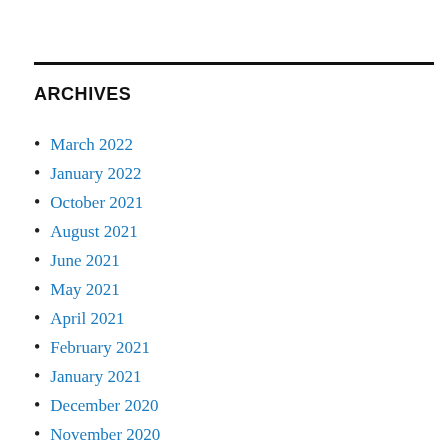ARCHIVES
March 2022
January 2022
October 2021
August 2021
June 2021
May 2021
April 2021
February 2021
January 2021
December 2020
November 2020